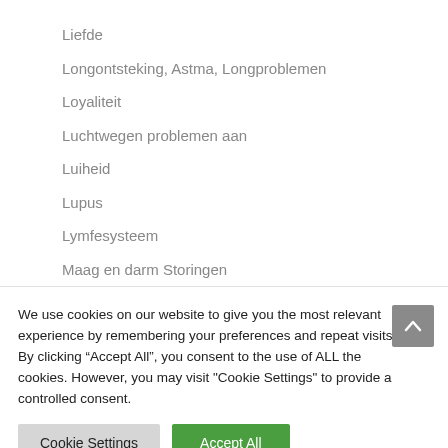Liefde
Longontsteking, Astma, Longproblemen
Loyaliteit
Luchtwegen problemen aan
Luiheid
Lupus
Lymfesysteem
Maag en darm Storingen
We use cookies on our website to give you the most relevant experience by remembering your preferences and repeat visits. By clicking “Accept All”, you consent to the use of ALL the cookies. However, you may visit "Cookie Settings" to provide a controlled consent.